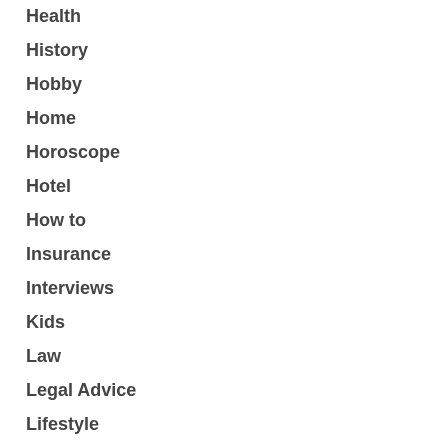Health
History
Hobby
Home
Horoscope
Hotel
How to
Insurance
Interviews
Kids
Law
Legal Advice
Lifestyle
Live Sets
Love & Sex